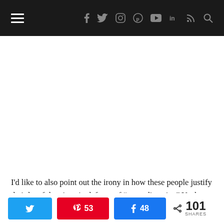Navigation bar with hamburger menu and social icons: facebook, twitter, instagram, pinterest, youtube, linkedin, rss, search
I'd like to also point out the irony in how these people justify their hateful actions in defense of “neurodiversity.” Yet by claiming that only autistic people should be able to
Share buttons: Twitter, Pinterest 53, Facebook 48, 101 SHARES